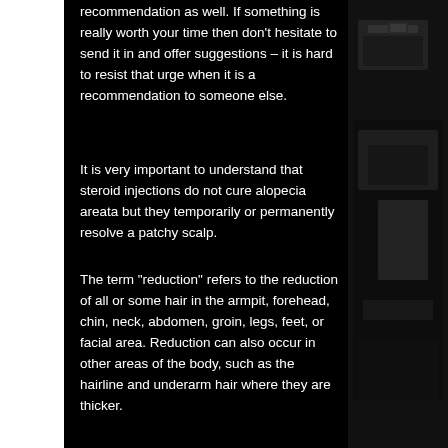recommendation as well. If something is really worth your time then don't hesitate to send it in and offer suggestions – it is hard to resist that urge when it is a recommendation to someone else.
It is very important to understand that steroid injections do not cure alopecia areata but they temporarily or permanently resolve a patchy scalp.
The term "reduction" refers to the reduction of all or some hair in the armpit, forehead, chin, neck, abdomen, groin, legs, feet, or facial area. Reduction can also occur in other areas of the body, such as the hairline and underarm hair where they are thicker.
[Figure (photo): Dark photograph of a room with equipment, partially visible on the right side of the page]